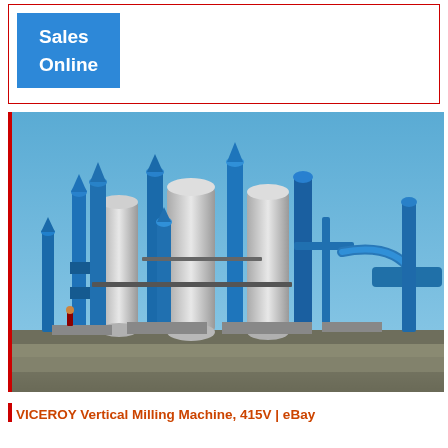[Figure (other): Blue button/label with text 'Sales Online' inside a red-bordered box]
[Figure (photo): Industrial milling/processing plant with blue and silver cylindrical tanks, towers, and pipes against a clear blue sky. Large industrial facility outdoors on concrete ground.]
VICEROY Vertical Milling Machine, 415V | eBay